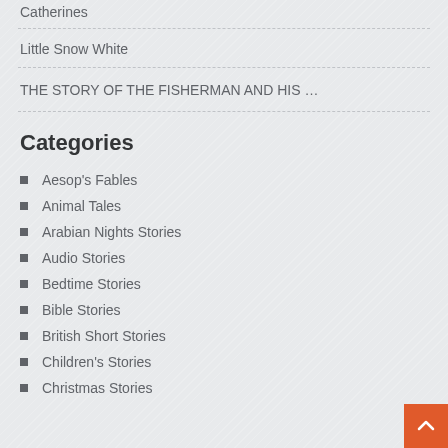Catherines
Little Snow White
THE STORY OF THE FISHERMAN AND HIS …
Categories
Aesop's Fables
Animal Tales
Arabian Nights Stories
Audio Stories
Bedtime Stories
Bible Stories
British Short Stories
Children's Stories
Christmas Stories